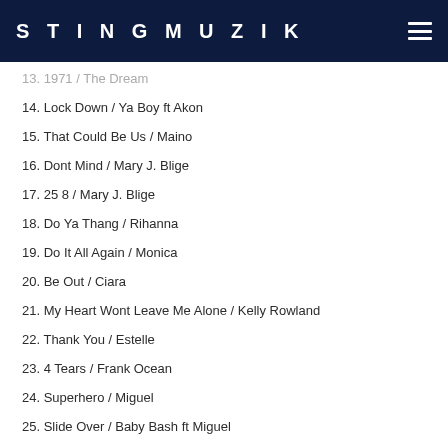STINGMUZIK
13. 1971 / The Dream
14. Lock Down / Ya Boy ft Akon
15. That Could Be Us / Maino
16. Dont Mind / Mary J. Blige
17. 25 8 / Mary J. Blige
18. Do Ya Thang / Rihanna
19. Do It All Again / Monica
20. Be Out / Ciara
21. My Heart Wont Leave Me Alone / Kelly Rowland
22. Thank You / Estelle
23. 4 Tears / Frank Ocean
24. Superhero / Miguel
25. Slide Over / Baby Bash ft Miguel
26. Regardless / Ne-Yo